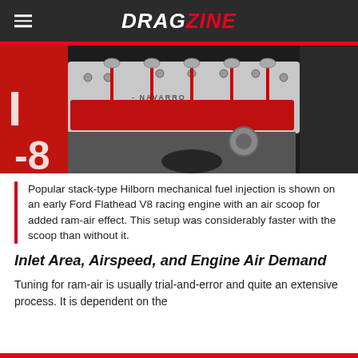DRAGZINE
[Figure (photo): Engine bay photo showing a Navarro stack-type Hilborn mechanical fuel injection system mounted on an early Ford Flathead V8 racing engine, with red valve covers and an air scoop visible.]
Popular stack-type Hilborn mechanical fuel injection is shown on an early Ford Flathead V8 racing engine with an air scoop for added ram-air effect. This setup was considerably faster with the scoop than without it.
Inlet Area, Airspeed, and Engine Air Demand
Tuning for ram-air is usually trial-and-error and quite an extensive process. It is dependent on the